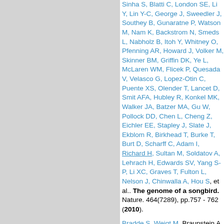Sinha S, Blatti C, London SE, Li Y, Lin Y-C, George J, Sweedler J, Southey B, Gunaratne P, Watson M, Nam K, Backstrom N, Smeds L, Nabholz B, Itoh Y, Whitney O, Pfenning AR, Howard J, Volker M, Skinner BM, Griffin DK, Ye L, McLaren WM, Flicek P, Quesada V, Velasco G, Lopez-Otin C, Puente XS, Olender T, Lancet D, Smit AFA, Hubley R, Konkel MK, Walker JA, Batzer MA, Gu W, Pollock DD, Chen L, Cheng Z, Eichler EE, Stapley J, Slate J, Ekblom R, Birkhead T, Burke T, Burt D, Scharff C, Adam I, Richard H, Sultan M, Soldatov A, Lehrach H, Edwards SV, Yang S-P, Li XC, Graves T, Fulton L, Nelson J, Chinwalla A, Hou S, et al.. The genome of a songbird. Nature. 464(7289), pp.757 - 762 (2010).
Bradde S, Weigt M, Braunstein A, Zecchina R, Tria F, Mahmoudi H. Aligning graphs and finding substructures by message passing. Europhys. Lett. . 89(37009), (2010).
Garcia M, Delaveau T, Goussard S, Jacq C. Mitochondrial...